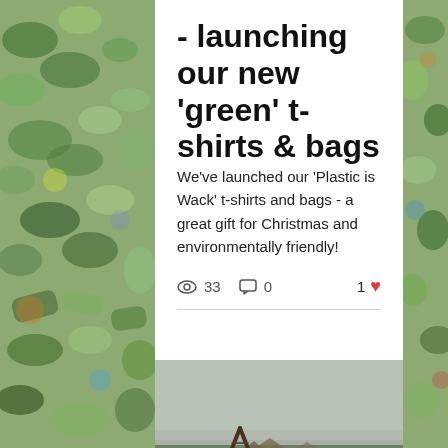- launching our new 'green' t-shirts & bags
We've launched our 'Plastic is Wack' t-shirts and bags - a great gift for Christmas and environmentally friendly!
33 views  0 comments  1 like
[Figure (photo): Flooded village scene with a wooden frame structure (A-frame tent or drying rack) standing in muddy brown floodwater, small houses and trees visible in the background under an overcast grey sky.]